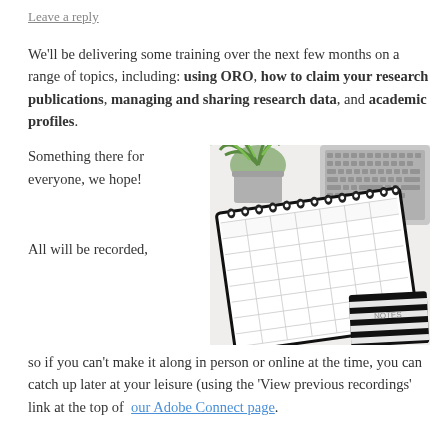Leave a reply
We'll be delivering some training over the next few months on a range of topics, including: using ORO, how to claim your research publications, managing and sharing research data, and academic profiles.
[Figure (photo): Desk scene with a spiral-bound weekly planner/scheduler open, a green plant, a laptop keyboard, and a striped notebook, all on a white surface.]
Something there for everyone, we hope!
All will be recorded, so if you can't make it along in person or online at the time, you can catch up later at your leisure (using the 'View previous recordings' link at the top of  our Adobe Connect page.